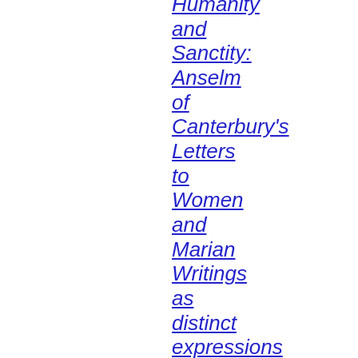Humanity and Sanctity: Anselm of Canterbury's Letters to Women and Marian Writings as distinct expressions of a common theological vision. Masters thesis,